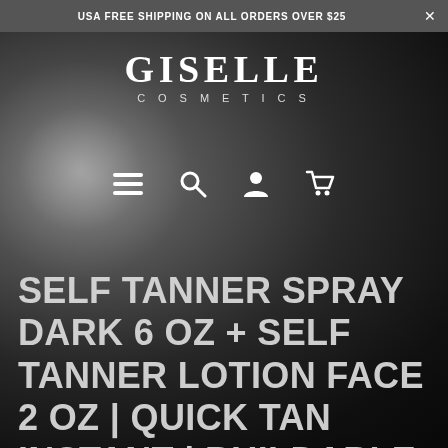USA FREE SHIPPING ON ALL ORDERS OVER $25
[Figure (logo): Giselle Cosmetics logo — 'GISELLE' in large serif bold with 'COSMETICS' in spaced sans-serif below]
[Figure (other): Navigation icons: hamburger menu, search, user account, shopping cart]
SELF TANNER SPRAY DARK 6 OZ + SELF TANNER LOTION FACE 2 OZ | QUICK TAN INSTANT | BUILDABLE LIGHT, MEDIUM OR